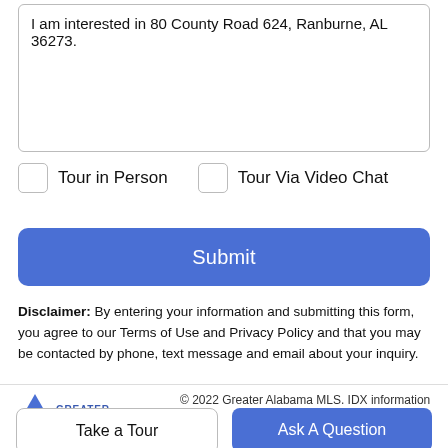I am interested in 80 County Road 624, Ranburne, AL 36273.
Tour in Person
Tour Via Video Chat
Submit
Disclaimer: By entering your information and submitting this form, you agree to our Terms of Use and Privacy Policy and that you may be contacted by phone, text message and email about your inquiry.
© 2022 Greater Alabama MLS. IDX information
Take a Tour
Ask A Question